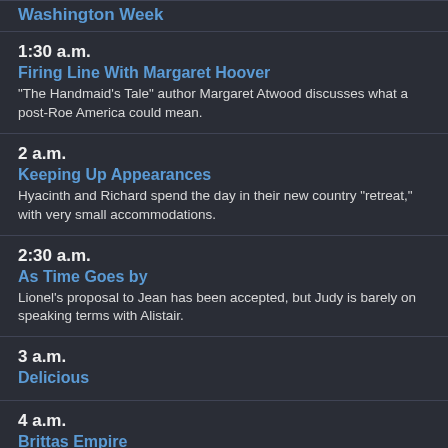Washington Week
1:30 a.m.
Firing Line With Margaret Hoover
"The Handmaid's Tale" author Margaret Atwood discusses what a post-Roe America could mean.
2 a.m.
Keeping Up Appearances
Hyacinth and Richard spend the day in their new country "retreat," with very small accommodations.
2:30 a.m.
As Time Goes by
Lionel's proposal to Jean has been accepted, but Judy is barely on speaking terms with Alistair.
3 a.m.
Delicious
4 a.m.
Brittas Empire